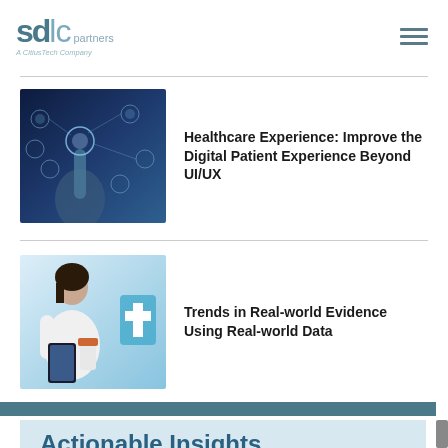sdlc partners | A CitiusTech Company
[Figure (photo): Hand touching digital healthcare icons interface with glowing light and connected network symbols on dark blue background]
Healthcare Experience: Improve the Digital Patient Experience Beyond UI/UX
[Figure (photo): Young Asian woman holding smartphone and pill bottle with blue medical cross symbol in background]
Trends in Real-world Evidence Using Real-world Data
Actionable Insights Each Month